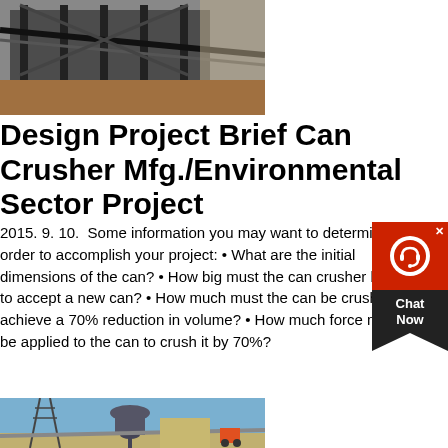[Figure (photo): Industrial heavy machinery/conveyor structure outdoor photo]
Design Project Brief Can Crusher Mfg./Environmental Sector Project
2015. 9. 10.  Some information you may want to determine in order to accomplish your project: • What are the initial dimensions of the can? • How big must the can crusher be in order to accept a new can? • How much must the can be crushed to achieve a 70% reduction in volume? • How much force must be applied to the can to crush it by 70%?
get price
[Figure (photo): Industrial milling/grinding equipment with cyclone dust collectors and conveyor belts outdoor photo]